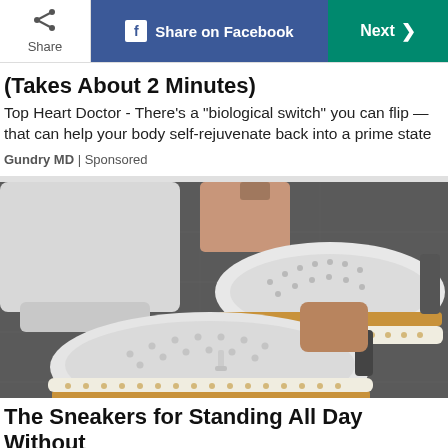Share | Share on Facebook | Next >
(Takes About 2 Minutes)
Top Heart Doctor - There’s a “biological switch” you can flip — that can help your body self-rejuvenate back into a prime state
Gundry MD | Sponsored
[Figure (photo): Close-up photo of a person wearing white jeans and white perforated slip-on sneakers with tan/brown rope-trim soles, standing on a dark pavement.]
The Sneakers for Standing All Day Without